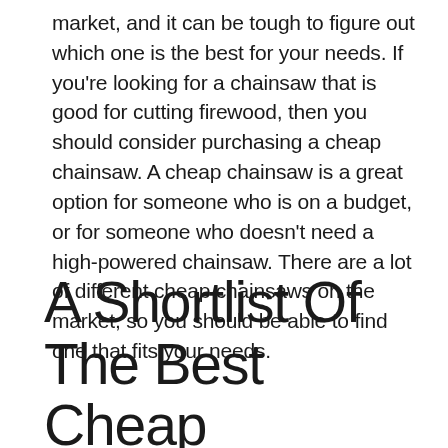market, and it can be tough to figure out which one is the best for your needs. If you're looking for a chainsaw that is good for cutting firewood, then you should consider purchasing a cheap chainsaw. A cheap chainsaw is a great option for someone who is on a budget, or for someone who doesn't need a high-powered chainsaw. There are a lot of different cheap chainsaws on the market, so you should be able to find one that fits your needs.
A Shortlist Of The Best Cheap Chainsaw For Cutting Firewood